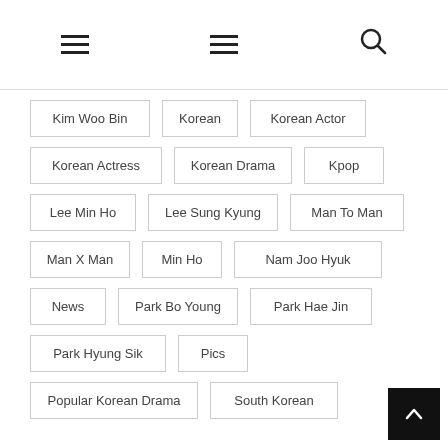Navigation header with hamburger menus and search icon
Kim Woo Bin
Korean
Korean Actor
Korean Actress
Korean Drama
Kpop
Lee Min Ho
Lee Sung Kyung
Man To Man
Man X Man
Min Ho
Nam Joo Hyuk
News
Park Bo Young
Park Hae Jin
Park Hyung Sik
Pics
Popular Korean Drama
South Korean